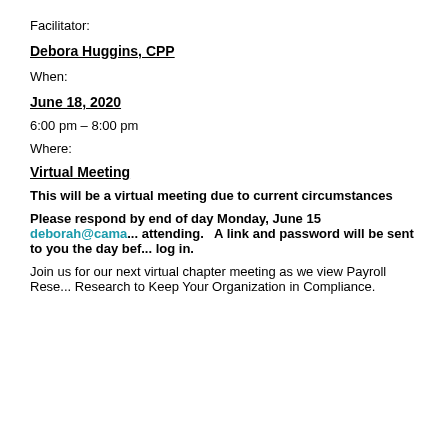Facilitator:
Debora Huggins, CPP
When:
June 18, 2020
6:00 pm – 8:00 pm
Where:
Virtual Meeting
This will be a virtual meeting due to current circumstances
Please respond by end of day Monday, June 15 deborah@cama... attending.   A link and password will be sent to you the day before log in.
Join us for our next virtual chapter meeting as we view Payroll Research to Keep Your Organization in Compliance.